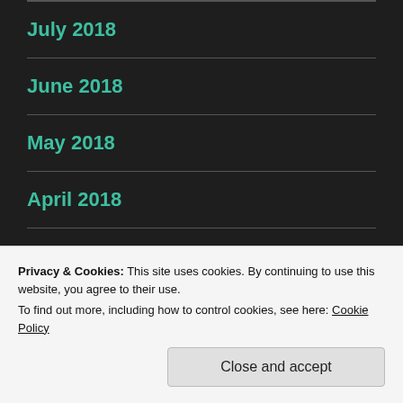July 2018
June 2018
May 2018
April 2018
March 2018
February 2018
Privacy & Cookies: This site uses cookies. By continuing to use this website, you agree to their use.
To find out more, including how to control cookies, see here: Cookie Policy
Close and accept